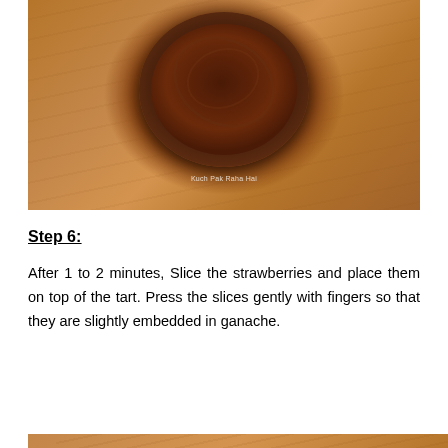[Figure (photo): Top-down view of a chocolate ganache tart in a black round pan, placed on a wooden surface. A watermark reads 'Kuch Pak Raha Hai'.]
Step 6:
After 1 to 2 minutes, Slice the strawberries and place them on top of the tart. Press the slices gently with fingers so that they are slightly embedded in ganache.